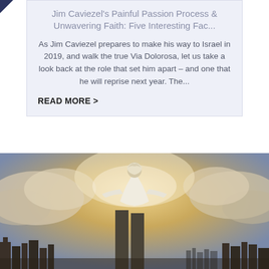Jim Caviezel's Painful Passion Process & Unwavering Faith: Five Interesting Fac...
As Jim Caviezel prepares to make his way to Israel in 2019, and walk the true Via Dolorosa, let us take a look back at the role that set him apart – and one that he will reprise next year. The...
READ MORE >
[Figure (photo): A religious illustration showing a robed figure with arms outstretched standing above twin skyscraper towers against a dramatic cloudy sky backdrop with a cityscape below.]